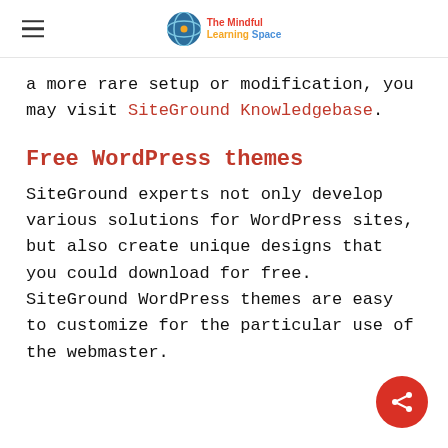The Mindful Learning Space
a more rare setup or modification, you may visit SiteGround Knowledgebase.
Free WordPress themes
SiteGround experts not only develop various solutions for WordPress sites, but also create unique designs that you could download for free. SiteGround WordPress themes are easy to customize for the particular use of the webmaster.